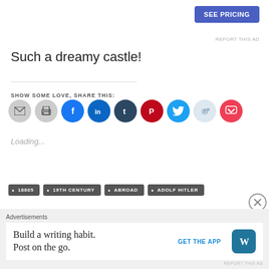[Figure (other): SEE PRICING blue button in top right area]
REPORT THIS AD
Such a dreamy castle!
SHOW SOME LOVE, SHARE THIS:
[Figure (other): Row of social media share icon circles: email, print, Facebook, LinkedIn, Tumblr, Pinterest, Twitter, Reddit, Pocket]
Loading...
18805
19TH CENTURY
ABROAD
ADOLF HITLER
Advertisements
Build a writing habit. Post on the go.
GET THE APP